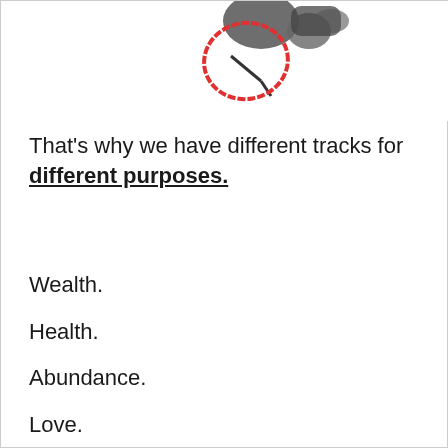[Figure (photo): Partial image of headphones with a red hand-drawn circle highlighting a connector or plug area, shown at the top of the page.]
That's why we have different tracks for different purposes.
Wealth.
Health.
Abundance.
Love.
Lucrative opportunities…